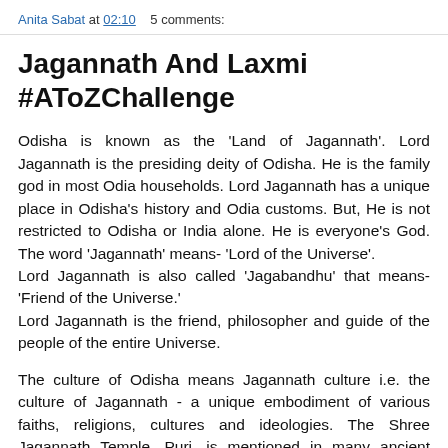Anita Sabat at 02:10    5 comments:
Jagannath And Laxmi #AToZChallenge
Odisha is known as the 'Land of Jagannath'. Lord Jagannath is the presiding deity of Odisha. He is the family god in most Odia households. Lord Jagannath has a unique place in Odisha's history and Odia customs. But, He is not restricted to Odisha or India alone. He is everyone's God. The word 'Jagannath' means- 'Lord of the Universe'.
Lord Jagannath is also called 'Jagabandhu' that means- 'Friend of the Universe.'
Lord Jagannath is the friend, philosopher and guide of the people of the entire Universe.
The culture of Odisha means Jagannath culture i.e. the culture of Jagannath - a unique embodiment of various faiths, religions, cultures and ideologies. The Shree Jagannath Temple, Puri, is mentioned in many ancient Sanskrit texts, such as the 'Padma Purana', 'Matsya Purana', 'Narada Purana' etc. In Odia, 'Purana' refers to